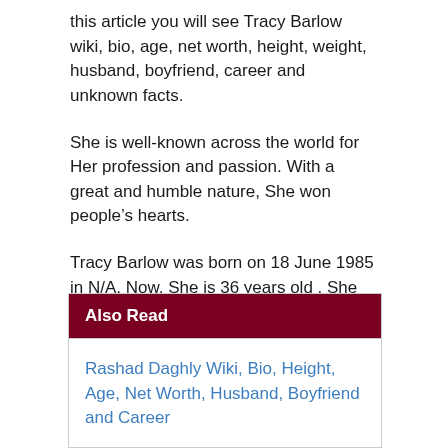this article you will see Tracy Barlow wiki, bio, age, net worth, height, weight, husband, boyfriend, career and unknown facts.
She is well-known across the world for Her profession and passion. With a great and humble nature, She won people’s hearts.
Tracy Barlow was born on 18 June 1985 in N/A. Now, She is 36 years old . She was born and raised with Her family in N/A.
Also Read
Rashad Daghly Wiki, Bio, Height, Age, Net Worth, Husband, Boyfriend and Career